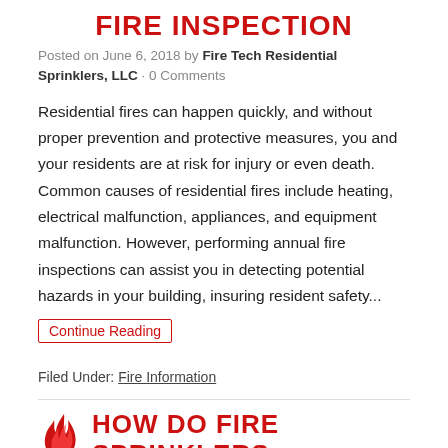FIRE INSPECTION
Posted on June 6, 2018 by Fire Tech Residential Sprinklers, LLC · 0 Comments
Residential fires can happen quickly, and without proper prevention and protective measures, you and your residents are at risk for injury or even death. Common causes of residential fires include heating, electrical malfunction, appliances, and equipment malfunction. However, performing annual fire inspections can assist you in detecting potential hazards in your building, insuring resident safety...
Continue Reading
Filed Under: Fire Information
HOW DO FIRE SPRINKLERS